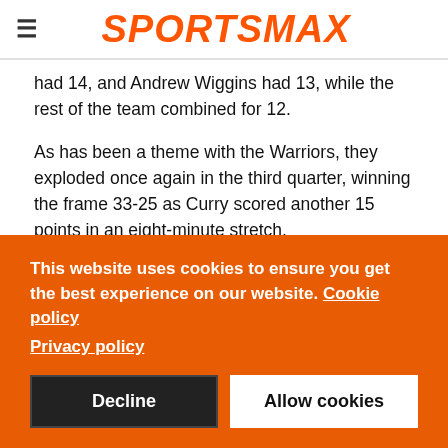SPORTSMAX
had 14, and Andrew Wiggins had 13, while the rest of the team combined for 12.
As has been a theme with the Warriors, they exploded once again in the third quarter, winning the frame 33-25 as Curry scored another 15 points in an eight-minute stretch.
The Warriors took the lead 83-82 with Curry's 15th point of the quarter, before the Celtics settled and fought back to take a 93-89 margin into the final break.
This website uses cookies to ensure you get the best experience on our website. Cookie policy
Privacy policy
Decline | Allow cookies